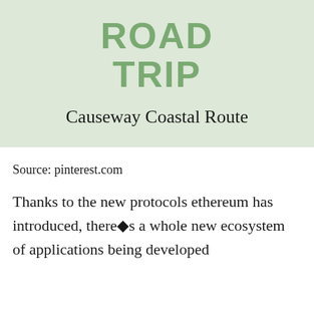[Figure (illustration): Light green banner with bold green uppercase text 'ROAD TRIP' and subtitle 'Causeway Coastal Route' in dark serif font]
Source: pinterest.com
Thanks to the new protocols ethereum has introduced, there�s a whole new ecosystem of applications being developed